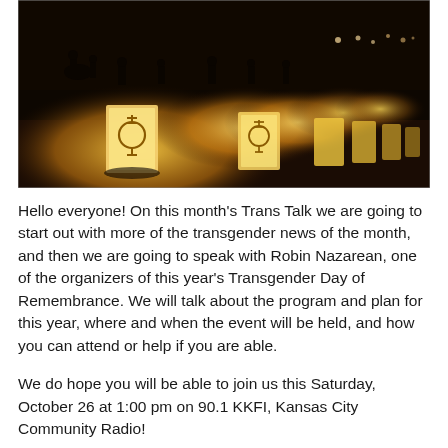[Figure (photo): Nighttime outdoor photo showing a row of glowing paper bag luminarias with transgender symbols on them, people silhouetted in the background against a dark sky.]
Hello everyone! On this month's Trans Talk we are going to start out with more of the transgender news of the month, and then we are going to speak with Robin Nazarean, one of the organizers of this year's Transgender Day of Remembrance. We will talk about the program and plan for this year, where and when the event will be held, and how you can attend or help if you are able.
We do hope you will be able to join us this Saturday, October 26 at 1:00 pm on 90.1 KKFI, Kansas City Community Radio!